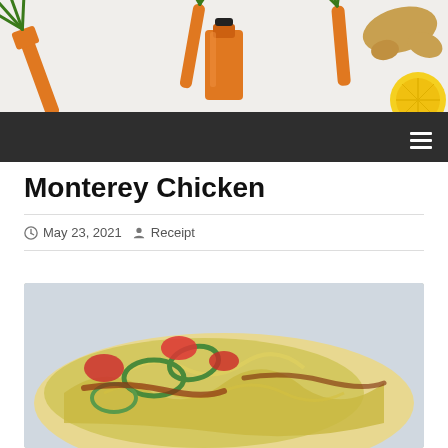[Figure (photo): Header photo showing carrots with green tops, an orange juice bottle, and a piece of ginger on a white background]
[Figure (photo): Navigation bar with dark/charcoal background and hamburger menu icon at the right]
Monterey Chicken
May 23, 2021   Receipt
[Figure (photo): Close-up photo of Monterey Chicken dish with melted cheese, green peppers, tomatoes, and bacon on chicken]